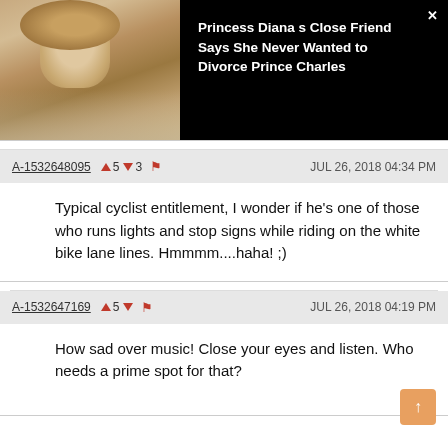[Figure (photo): Photo of Princess Diana alongside article headline on dark background]
Princess Diana s Close Friend Says She Never Wanted to Divorce Prince Charles
A-1532648095  ▲5  ▼3  JUL 26, 2018 04:34 PM
Typical cyclist entitlement, I wonder if he's one of those who runs lights and stop signs while riding on the white bike lane lines. Hmmmm....haha! ;)
A-1532647169  ▲5  ▼  JUL 26, 2018 04:19 PM
How sad over music! Close your eyes and listen. Who needs a prime spot for that?